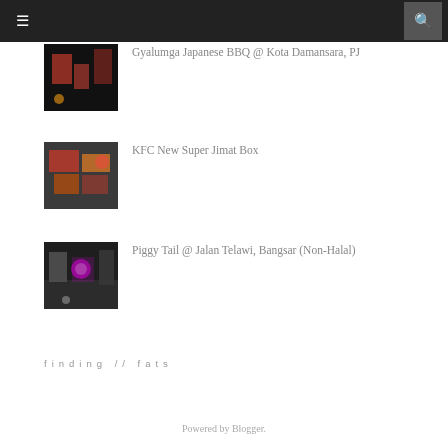≡  🔍
Gyalumga Japanese BBQ @ Kota Damansara, PJ
KFC New Super Jimat Box
Piggy Tail @ Jalan Telawi, Bangsar (Non-Halal)
finding // fats
Powered by Blogger.